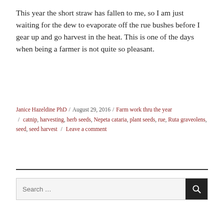This year the short straw has fallen to me, so I am just waiting for the dew to evaporate off the rue bushes before I gear up and go harvest in the heat. This is one of the days when being a farmer is not quite so pleasant.
Janice Hazeldine PhD / August 29, 2016 / Farm work thru the year / catnip, harvesting, herb seeds, Nepeta cataria, plant seeds, rue, Ruta graveolens, seed, seed harvest / Leave a comment